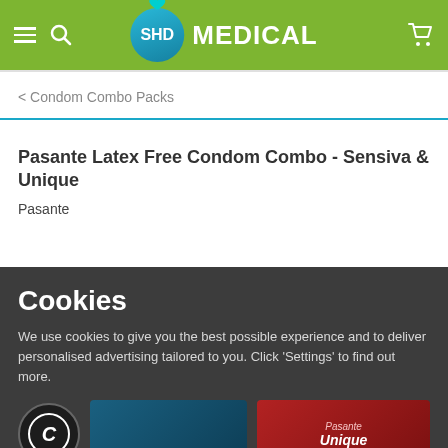SHD MEDICAL
< Condom Combo Packs
Pasante Latex Free Condom Combo - Sensiva & Unique
Pasante
Cookies
We use cookies to give you the best possible experience and to deliver personalised advertising tailored to you. Click 'Settings' to find out more.
OK
SETTINGS